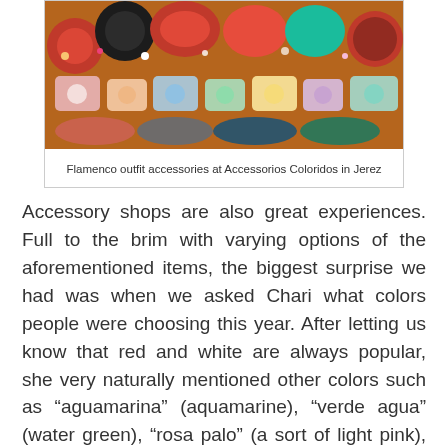[Figure (photo): Colorful flamenco outfit accessories including hats, hair pieces, earrings, and decorative items displayed at Accessorios Coloridos in Jerez]
Flamenco outfit accessories at Accessorios Coloridos in Jerez
Accessory shops are also great experiences. Full to the brim with varying options of the aforementioned items, the biggest surprise we had was when we asked Chari what colors people were choosing this year. After letting us know that red and white are always popular, she very naturally mentioned other colors such as “aguamarina” (aquamarine), “verde agua” (water green), “rosa palo” (a sort of light pink), bugainvillea or peacock blue, colours